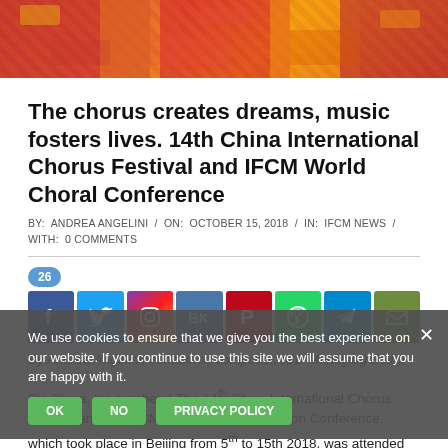[Figure (photo): People in red and yellow traditional Chinese costumes, partial view of performers.]
The chorus creates dreams, music fosters lives. 14th China International Chorus Festival and IFCM World Choral Conference
BY: ANDREA ANGELINI / ON: OCTOBER 15, 2018 / IN: IFCM NEWS / WITH: 0 COMMENTS
[Figure (infographic): Social sharing bar with share count 26, and icons for Facebook, Twitter, Instagram, VK, Pinterest, WhatsApp, Telegram, Email.]
By Andrea Angelini, conductor, composer, ICB Managing Editor
Big China, big numbers! The 14th China International Chorus Festival and the IFCM World Choral Education Conference, which took place in Beijing from 5th to 15th 2018, was attended by leaders and experts of choral organizations from 59 countries and districts, and more than 15,000 people from 308 choirs. The
We use cookies to ensure that we give you the best experience on our website. If you continue to use this site we will assume that you are happy with it.